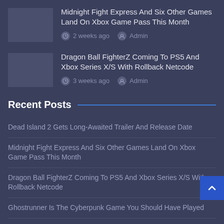[Figure (screenshot): Thumbnail image placeholder for Midnight Fight Express article]
Midnight Fight Express And Six Other Games Land On Xbox Game Pass This Month
2 weeks ago   Admin
[Figure (screenshot): Thumbnail image placeholder for Dragon Ball FighterZ article]
Dragon Ball FighterZ Coming To PS5 And Xbox Series X/S With Rollback Netcode
3 weeks ago   Admin
Recent Posts
Dead Island 2 Gets Long-Awaited Trailer And Release Date
Midnight Fight Express And Six Other Games Land On Xbox Game Pass This Month
Dragon Ball FighterZ Coming To PS5 And Xbox Series X/S With Rollback Netcode
Ghostrunner Is The Cyberpunk Game You Should Have Played